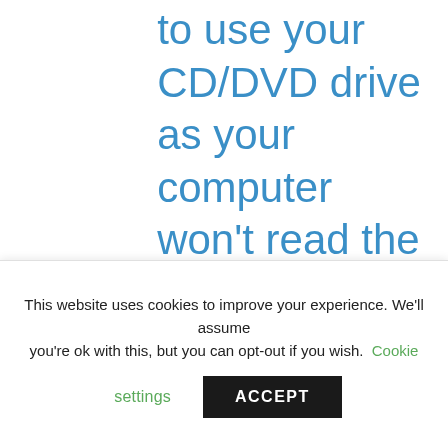to use your CD/DVD drive as your computer won't read the disk?
This website uses cookies to improve your experience. We'll assume you're ok with this, but you can opt-out if you wish. Cookie settings ACCEPT